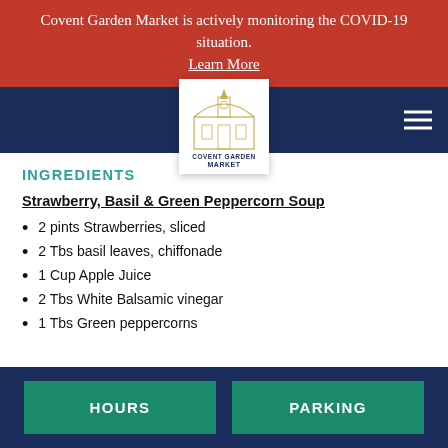Covent Garden Market is actively monitoring the COVID-19 situation. Learn More
[Figure (logo): Covent Garden Market logo with building illustration and text]
INGREDIENTS
Strawberry, Basil & Green Peppercorn Soup
2 pints Strawberries, sliced
2 Tbs basil leaves, chiffonade
1 Cup Apple Juice
2 Tbs White Balsamic vinegar
1 Tbs Green peppercorns
HOURS   PARKING